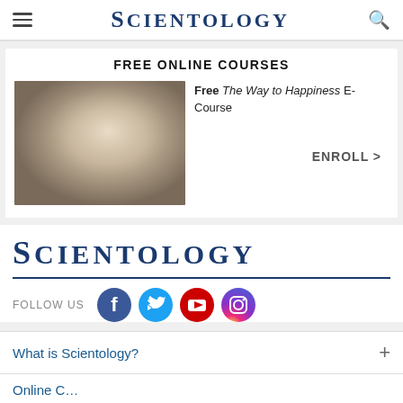SCIENTOLOGY
FREE ONLINE COURSES
[Figure (photo): Blurred warm-toned thumbnail image for free online course]
Free The Way to Happiness E-Course
ENROLL >
[Figure (logo): Scientology logo in dark blue serif font]
FOLLOW US
[Figure (illustration): Social media icons: Facebook, Twitter, YouTube, Instagram]
What is Scientology?
Online C...